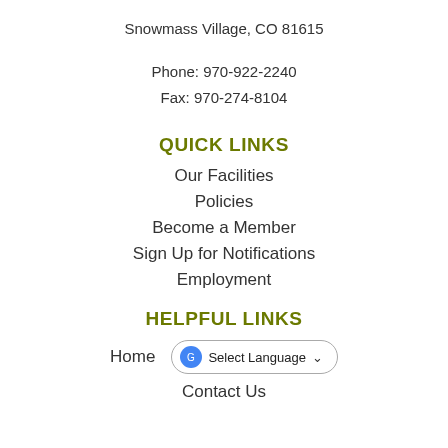Snowmass Village, CO 81615
Phone: 970-922-2240
Fax: 970-274-8104
QUICK LINKS
Our Facilities
Policies
Become a Member
Sign Up for Notifications
Employment
HELPFUL LINKS
Home
Contact Us